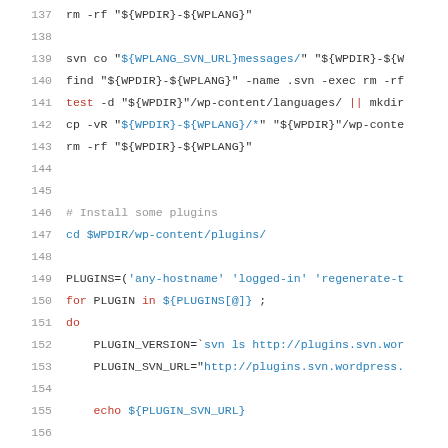[Figure (screenshot): Code editor screenshot showing shell script lines 137-159 with syntax highlighting. Keywords in red, URLs/paths in blue, regular code in dark gray, line numbers in light gray.]